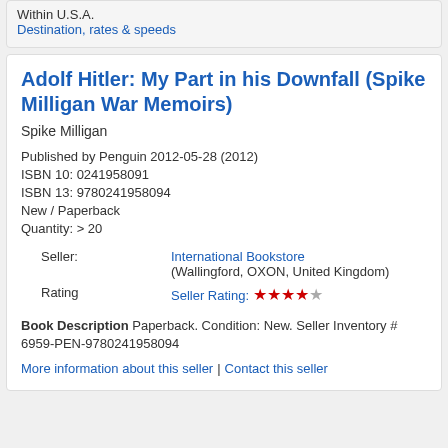Shipping: FREE Within U.S.A. Destination, rates & speeds
Adolf Hitler: My Part in his Downfall (Spike Milligan War Memoirs)
Spike Milligan
Published by Penguin 2012-05-28 (2012)
ISBN 10: 0241958091
ISBN 13: 9780241958094
New / Paperback
Quantity: > 20
| Seller: | International Bookstore (Wallingford, OXON, United Kingdom) |
| Rating | Seller Rating: ★★★★☆ |
Book Description Paperback. Condition: New. Seller Inventory # 6959-PEN-9780241958094
More information about this seller | Contact this seller